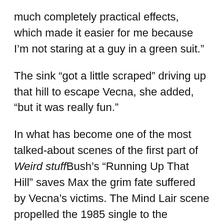much completely practical effects, which made it easier for me because I’m not staring at a guy in a green suit.”
The sink “got a little scraped” driving up that hill to escape Vecna, she added, “but it was really fun.”
In what has become one of the most talked-about scenes of the first part of Weird stuff Bush’s “Running Up That Hill” saves Max the grim fate suffered by Vecna’s victims. The Mind Lair scene propelled the 1985 single to the Billboard Hot 100, giving Bush her first-ever top 10 US hit at number 8.
According to Billboard “Running Up That Hill”